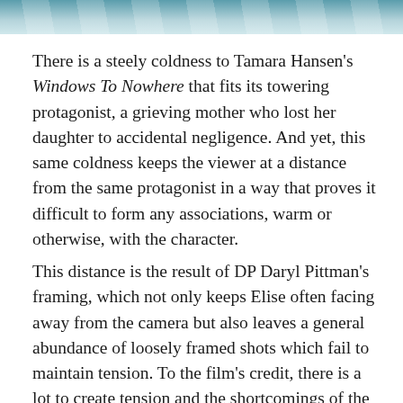[Figure (photo): Partial photo strip at top of page showing a teal/blue water or pool scene]
There is a steely coldness to Tamara Hansen’s Windows To Nowhere that fits its towering protagonist, a grieving mother who lost her daughter to accidental negligence. And yet, this same coldness keeps the viewer at a distance from the same protagonist in a way that proves it difficult to form any associations, warm or otherwise, with the character.
This distance is the result of DP Daryl Pittman’s framing, which not only keeps Elise often facing away from the camera but also leaves a general abundance of loosely framed shots which fail to maintain tension. To the film’s credit, there is a lot to create tension and the shortcomings of the framing are redeemed (to some extent) by both the screenplay and the colour scheme.